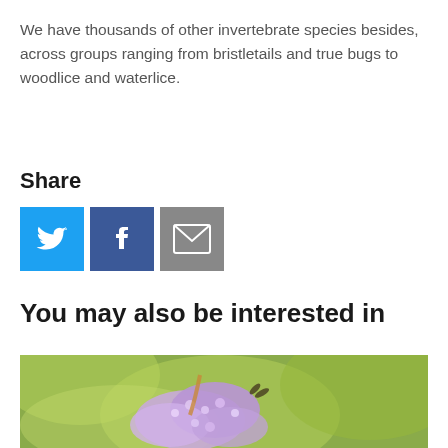We have thousands of other invertebrate species besides, across groups ranging from bristletails and true bugs to woodlice and waterlice.
Share
[Figure (infographic): Three social share buttons: Twitter (blue bird icon), Facebook (dark blue f icon), Email (grey envelope icon)]
You may also be interested in
[Figure (photo): A close-up photo of purple/lavender flowers (buddleia) with green bokeh background, possibly with a butterfly or insect.]